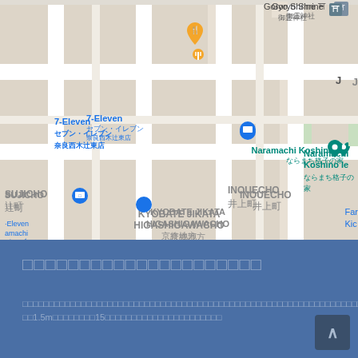[Figure (map): Google Maps screenshot showing streets in Nara, Japan. Labels include: Goryo Shrine 御霊神社, 7-Eleven セブン・イレブン 奈良西木辻東店, Naramachi Koshino Ie ならまち格子の家, SUJICHO 辻町, INOUECHO 井上町, KYOBATE JIKATA HIGASHIGAWACHO 京終地方 東側町, with various map pins and icons.]
□□□□□□□□□□□□□□□□□□□□□
□□□□□□□□□□□□□□□□□□□□□□□□□□□□□□□□□□□□□□□□□□□□□□□□□□□□□□□□□□□□□□□□□□□□□□□□□□□□□□□□□□□□□□□□□□□□□□□□□□□□□□□□□□□□□□□□□□□□□□□□□□□□□□2□□1□□□□□□□□□□□□□□□□□□□□□□□□□□...□□□□□□□□□□□□□□□□□□□□□□□□□□□□□□□□□□□□□□□□□□□□□□□□□□□□□□□□□□□□□□□□□□□□□□□□□□□□□□□□□□□□□□□□□□□□□□□□□□□□□□□□□□□□□□□□□□□□□□□□□□□□□□□□□□□1.5m□□□□□□□□15□□□□□□□□□□□□□□□□□□□□□□